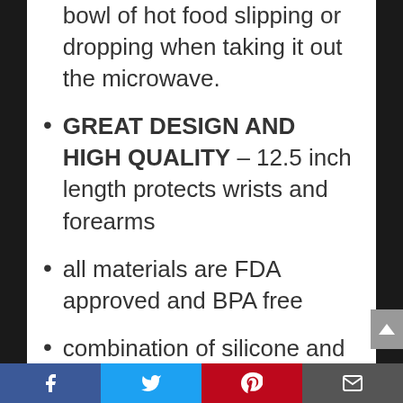bowl of hot food slipping or dropping when taking it out the microwave.
GREAT DESIGN AND HIGH QUALITY – 12.5 inch length protects wrists and forearms
all materials are FDA approved and BPA free
combination of silicone and cotton for maximum flexibility and maximum heat protection
soft and super comfortable terry cloth interior
100% SATISFACTION GUARANTEED